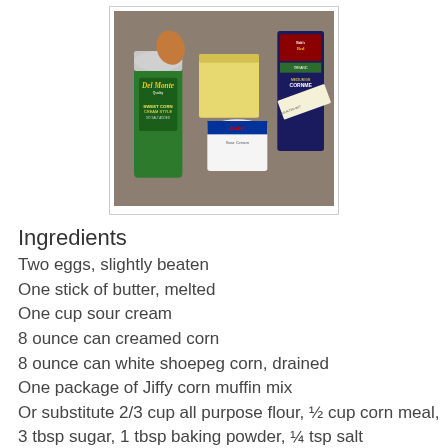[Figure (photo): Photo of recipe ingredients on a counter: Del Monte Sweet Corn Cream Style can, egg, stick of butter/cheese block, Daisy Sour Cream container, Bob's Red Mill Organic Medium Grind Cornmeal bag, and unsalted butter.]
Ingredients
Two eggs, slightly beaten
One stick of butter, melted
One cup sour cream
8 ounce can creamed corn
8 ounce can white shoepeg corn, drained
One package of Jiffy corn muffin mix
Or substitute 2/3 cup all purpose flour, ½ cup corn meal, 3 tbsp sugar, 1 tbsp baking powder, ¼ tsp salt
One cup shredded Swiss cheese